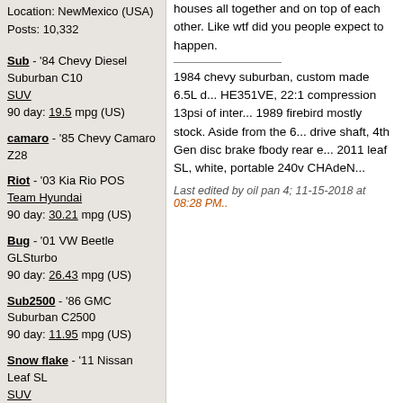Location: NewMexico (USA)
Posts: 10,332
Sub - '84 Chevy Diesel Suburban C10
SUV
90 day: 19.5 mpg (US)
camaro - '85 Chevy Camaro Z28
Riot - '03 Kia Rio POS
Team Hyundai
90 day: 30.21 mpg (US)
Bug - '01 VW Beetle GLSturbo
90 day: 26.43 mpg (US)
Sub2500 - '86 GMC Suburban C2500
90 day: 11.95 mpg (US)
Snow flake - '11 Nissan Leaf SL
SUV
90 day: 141.63 mpg (US)
Thanks: 248
Thanked 3,318 Times in 2,616 Posts
houses all together and on top of each other. Like wtf did you people expect to happen.
1984 chevy suburban, custom made 6.5L diesel HE351VE, 22:1 compression 13psi of intercooled boost... 1989 firebird mostly stock. Aside from the 6... drive shaft, 4th Gen disc brake fbody rear end... 2011 leaf SL, white, portable 240v CHAdeM...
Last edited by oil pan 4; 11-15-2018 at 08:28 PM..
The Following User Says Thank You to oil pan 4 For This Useful Post:
aerohead (11-17-2018)
11-15-2018, 08:56 PM